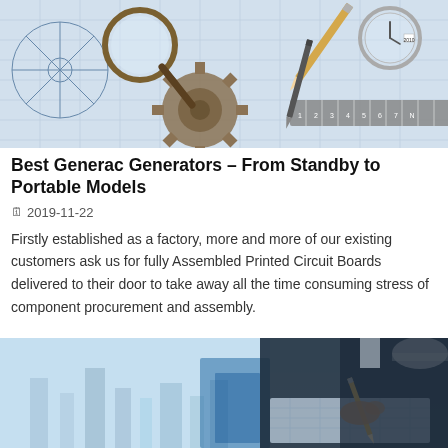[Figure (photo): Engineering/technical photo showing blueprints, gears, magnifying glass, ruler, pencil, and watch on a drafting table]
Best Generac Generators – From Standby to Portable Models
🗓 2019-11-22
Firstly established as a factory, more and more of our existing customers ask us for fully Assembled Printed Circuit Boards delivered to their door to take away all the time consuming stress of component procurement and assembly.
[Figure (photo): Engineering/industrial photo showing a person in a hard hat holding a pencil over blueprints with wind turbines or industrial structures in the background]